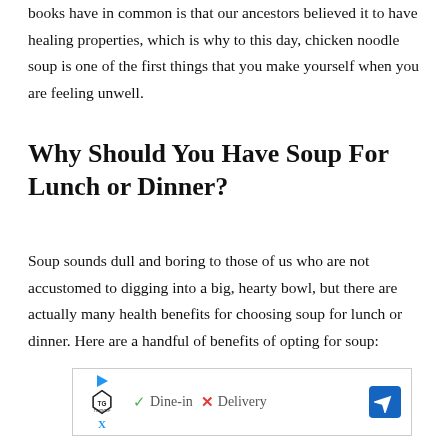books have in common is that our ancestors believed it to have healing properties, which is why to this day, chicken noodle soup is one of the first things that you make yourself when you are feeling unwell.
Why Should You Have Soup For Lunch or Dinner?
Soup sounds dull and boring to those of us who are not accustomed to digging into a big, hearty bowl, but there are actually many health benefits for choosing soup for lunch or dinner. Here are a handful of benefits of opting for soup:
[Figure (other): Advertisement banner for Topgolf with play button icon, X icon, checkmark Dine-in, red X Delivery, and blue navigation diamond icon]